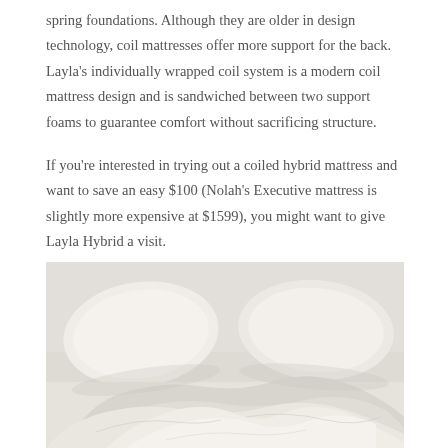spring foundations. Although they are older in design technology, coil mattresses offer more support for the back. Layla's individually wrapped coil system is a modern coil mattress design and is sandwiched between two support foams to guarantee comfort without sacrificing structure.
If you're interested in trying out a coiled hybrid mattress and want to save an easy $100 (Nolah's Executive mattress is slightly more expensive at $1599), you might want to give Layla Hybrid a visit.
[Figure (photo): Photo of a rumpled white bed with pillows and bunched-up white bedding/duvet on a light gray background.]